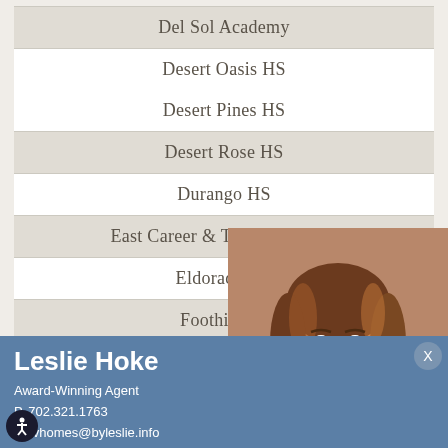Del Sol Academy
Desert Oasis HS
Desert Pines HS
Desert Rose HS
Durango HS
East Career & Tech. Acad. HS
Eldorado HS
Foothill HS
Global Communit…
[Figure (photo): Headshot of a smiling woman with brown hair, Leslie Hoke, real estate agent]
Leslie Hoke
Award-Winning Agent
P. 702.321.1763
E. lvhomes@byleslie.info